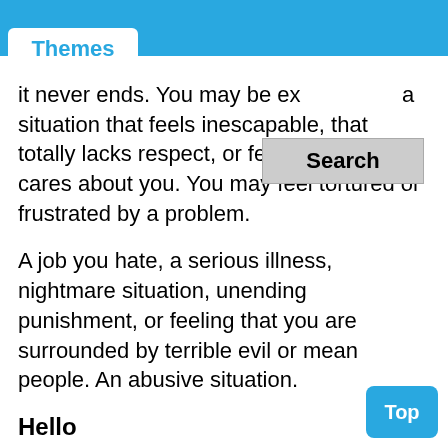Themes
[Figure (screenshot): Search button overlay UI element]
it never ends. You may be experiencing a situation that feels inescapable, that totally lacks respect, or feels like nobody cares about you. You may feel tortured or frustrated by a problem.
A job you hate, a serious illness, nightmare situation, unending punishment, or feeling that you are surrounded by terrible evil or mean people. An abusive situation.
Hello
To dream of someone saying hello or hi to you may represent feelings about something new about to happen. Beginning or adjusting to a new situation. Surprise that something new has to start or stop. A new situation that you feel is "introducing" itself. A new situation that makes you feel like your feelings are important. Liking something for the first time. Experiencing something deserving to be acknowledged. A mutual wish to adjust comfortably to a new
[Figure (screenshot): Top button UI element]